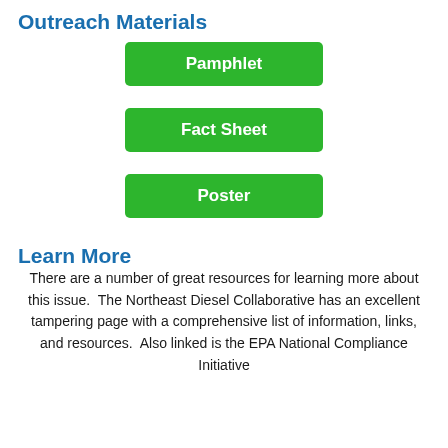Outreach Materials
[Figure (infographic): Three green buttons labeled Pamphlet, Fact Sheet, and Poster, arranged vertically centered on the page]
Learn More
There are a number of great resources for learning more about this issue.  The Northeast Diesel Collaborative has an excellent tampering page with a comprehensive list of information, links, and resources.  Also linked is the EPA National Compliance Initiative